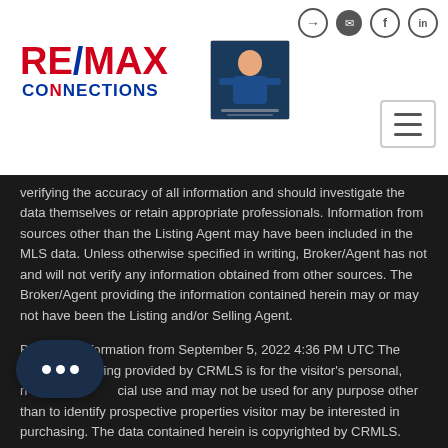RE/MAX CONNECTIONS header with navigation icons and agent logo
verifying the accuracy of all information and should investigate the data themselves or retain appropriate professionals. Information from sources other than the Listing Agent may have been included in the MLS data. Unless otherwise specified in writing, Broker/Agent has not and will not verify any information obtained from other sources. The Broker/Agent providing the information contained herein may or may not have been the Listing and/or Selling Agent.
Based on information from September 5, 2022 4:36 PM UTC The information being provided by CRMLS is for the visitor's personal, non-commercial use and may not be used for any purpose other than to identify prospective properties visitor may be interested in purchasing. The data contained herein is copyrighted by CRMLS.